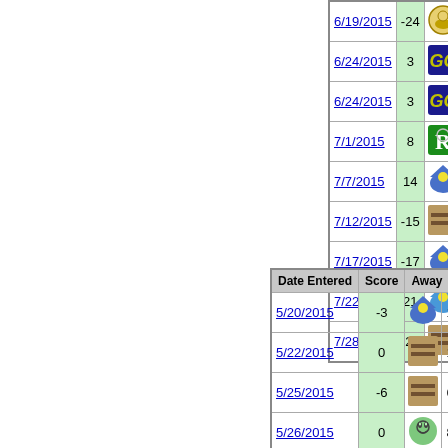| Date Entered | Score | Away |  | Home |  |
| --- | --- | --- | --- | --- | --- |
| 6/19/2015 | -24 | [icon] | 10 | [icon] |  |
| 6/24/2015 | 3 | [GC icon] | 6 | [icon] |  |
| 6/24/2015 | 3 | [GC icon] | 6 | [icon] |  |
| 7/1/2015 | 8 | [R icon] | 5 | [icon] |  |
| 7/7/2015 | 14 | [hat icon] | 2 | [icon] |  |
| 7/12/2015 | -15 | [tan icon] | 4 | [icon] |  |
| 7/17/2015 | -17 | [hat icon] | 11 | [icon] |  |
| 7/22/2015 | 21 | [hat icon] | 0 | [icon] |  |
| 7/28/2015 | -23 | [tan icon] | 5 | [icon] |  |
| Date Entered | Score | Away |  | Home |  |
| --- | --- | --- | --- | --- | --- |
| 5/20/2015 | -3 | [hat icon] | 1 | [tan icon] |  |
| 5/22/2015 | 0 | [tan icon] | 12 | [hat icon] |  |
| 5/25/2015 | -6 | [tan icon] | 6 | [R icon] |  |
| 5/26/2015 | 0 | [alien icon] | 8 | [tan icon] |  |
| 5/31/2015 | 5 | [tan icon] | 5 | [icon] |  |